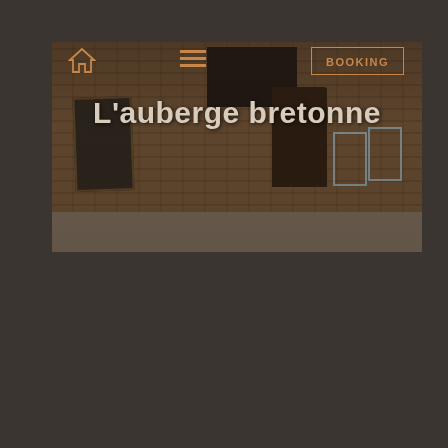[Figure (photo): Exterior photo of a French country inn/restaurant called L'auberge bretonne. The storefront shows brick walls, a dark wooden door, a chalkboard A-frame menu sign on the left, and white folding chairs and table on the right. The image has a dark brownish overlay.]
L'auberge bretonne